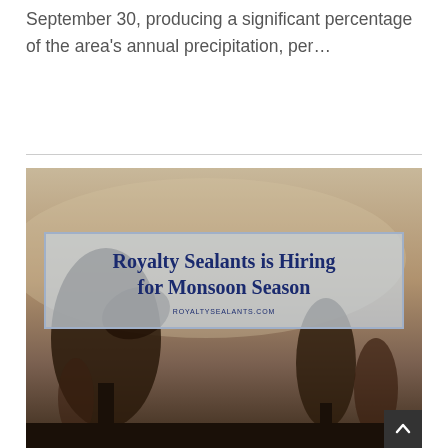September 30, producing a significant percentage of the area's annual precipitation, per…
[Figure (screenshot): Screenshot of Royalty Sealants website showing a navigation bar with links 'ROYALTY SEALANTS', 'WATERPROOFING', 'WEATHERIZATION', and a dropdown tab 'WINDOW SEALANT'. Below the nav is a hero image with a stormy monsoon background and a semi-transparent card reading 'Royalty Sealants is Hiring for Monsoon Season' with URL ROYALTYSEALANTS.COM. A scroll-to-top button is visible in the bottom right corner.]